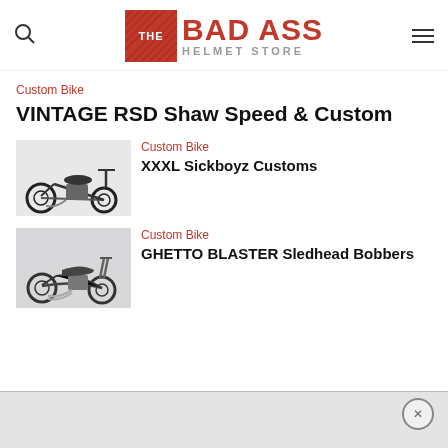[Figure (logo): The Bad Ass Helmet Store logo with red checkered box and bold text]
Custom Bike
VINTAGE RSD Shaw Speed & Custom
Custom Bike
[Figure (photo): Black custom chopper motorcycle on white background]
XXXL Sickboyz Customs
Custom Bike
[Figure (photo): Chrome custom bobber motorcycle on light background]
GHETTO BLASTER Sledhead Bobbers